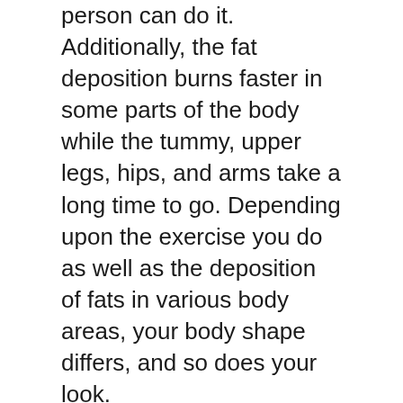person can do it. Additionally, the fat deposition burns faster in some parts of the body while the tummy, upper legs, hips, and arms take a long time to go. Depending upon the exercise you do as well as the deposition of fats in various body areas, your body shape differs, and so does your look.
There are a range of choices available in the market in the area of weight-reducing items, only a few of them in fact function. Java Burn is amongst the top options to set off a natural fat burning, and this testimonial will evaluate the points that contribute to its popularity.
Benefits of Using Java